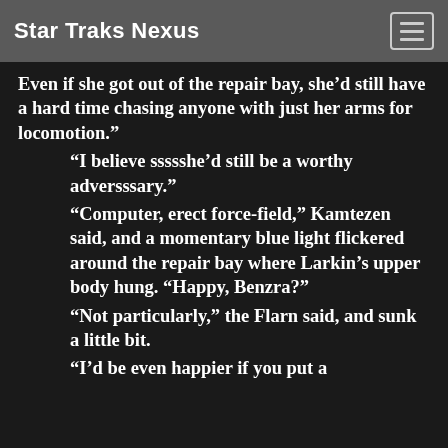Star Traks Nexus
Even if she got out of the repair bay, she’d still have a hard time chasing anyone with just her arms for locomotion.” “I believe ssssshe’d still be a worthy adversssary.” “Computer, erect force-field,” Kamtezen said, and a momentary blue light flickered around the repair bay where Larkin’s upper body hung. “Happy, Benzra?” “Not particularly,” the Flarn said, and sunk a little bit. “I’d be even happier if you put a